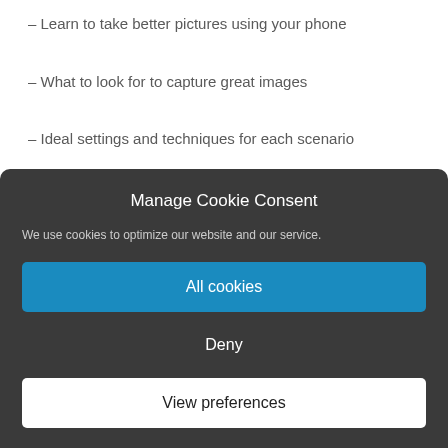– Learn to take better pictures using your phone
– What to look for to capture great images
– Ideal settings and techniques for each scenario
– How to market your photography business
Manage Cookie Consent
We use cookies to optimize our website and our service.
All cookies
Deny
View preferences